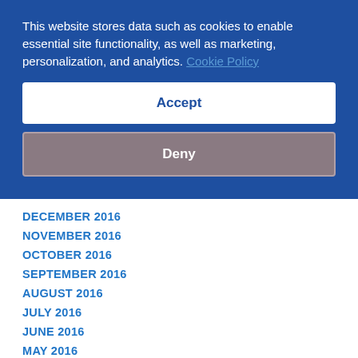This website stores data such as cookies to enable essential site functionality, as well as marketing, personalization, and analytics. Cookie Policy
Accept
Deny
DECEMBER 2016
NOVEMBER 2016
OCTOBER 2016
SEPTEMBER 2016
AUGUST 2016
JULY 2016
JUNE 2016
MAY 2016
APRIL 2016
MARCH 2016
FEBRUARY 2016
JANUARY 2016